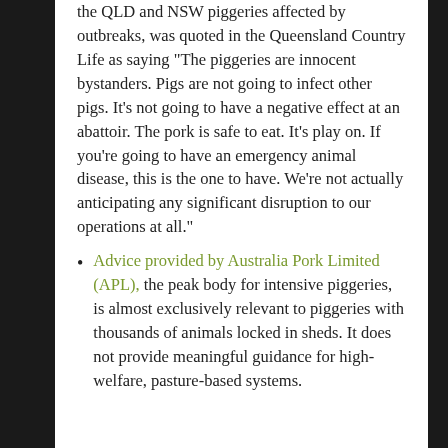the QLD and NSW piggeries affected by outbreaks, was quoted in the Queensland Country Life as saying “The piggeries are innocent bystanders. Pigs are not going to infect other pigs. It’s not going to have a negative effect at an abattoir. The pork is safe to eat. It’s play on. If you’re going to have an emergency animal disease, this is the one to have. We’re not actually anticipating any significant disruption to our operations at all.”
Advice provided by Australia Pork Limited (APL), the peak body for intensive piggeries, is almost exclusively relevant to piggeries with thousands of animals locked in sheds. It does not provide meaningful guidance for high-welfare, pasture-based systems.